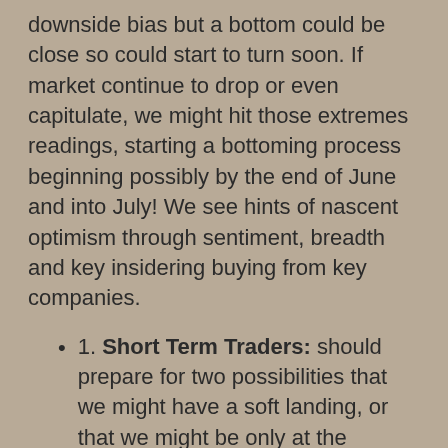downside bias but a bottom could be close so could start to turn soon. If market continue to drop or even capitulate, we might hit those extremes readings, starting a bottoming process beginning possibly by the end of June and into July! We see hints of nascent optimism through sentiment, breadth and key insidering buying from key companies.
1. Short Term Traders: should prepare for two possibilities that we might have a soft landing, or that we might be only at the halfway point of further weakness (in time and price). However, either way,